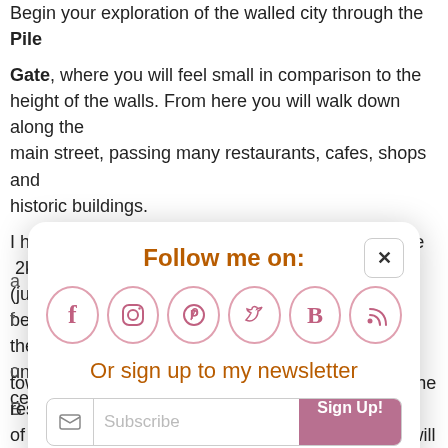Begin your exploration of the walled city through the Pile Gate, where you will feel small in comparison to the height of the walls. From here you will walk down along the main street, passing many restaurants, cafes, shops and historic buildings.
I highly suggest beginning your day with walking the 2km (just over a mile long) and 82 feet high city walls before they get crowded and before the heat becomes too unbearable! The city walls were built in the 10th century…
[Figure (infographic): Social media follow popup overlay with title 'Follow me on:', icons for Facebook, Instagram, Pinterest, Twitter, Bloglovin, RSS, text 'Or sign up to my newsletter', and an email subscribe bar with Sign Up! button.]
town from both land and sea and is separate from the rest of the town. Many lovers of The Game of Thrones will